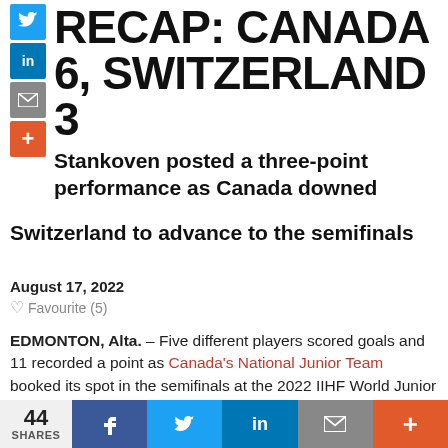RECAP: CANADA 6, SWITZERLAND 3
Stankoven posted a three-point performance as Canada downed Switzerland to advance to the semifinals
August 17, 2022
Favourite (5)
EDMONTON, Alta. – Five different players scored goals and 11 recorded a point as Canada's National Junior Team booked its spot in the semifinals at the 2022 IIHF World Junior Championship, doubling up on Switzerland 6-3 on Wednesday.
44 SHARES | Facebook | Twitter | LinkedIn | Email | +